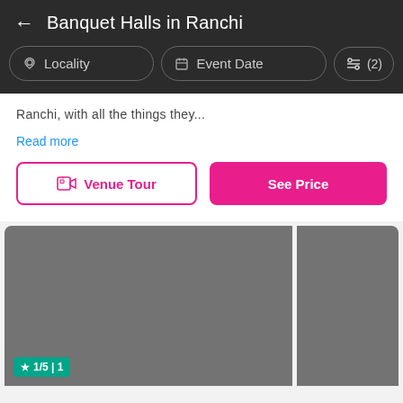Banquet Halls in Ranchi
Locality  |  Event Date  |  (2)
Ranchi, with all the things they...
Read more
Venue Tour  |  See Price
[Figure (screenshot): Two gray placeholder image tiles for a venue listing card, with a green badge showing star 1/5 | 1 at the bottom left of the main image]